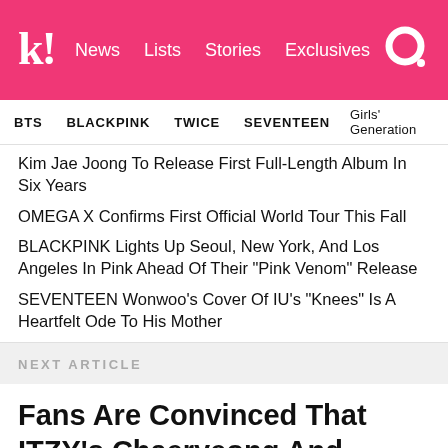Koreaboo! | News | Lists | Stories | Exclusives
BTS  BLACKPINK  TWICE  SEVENTEEN  Girls' Generation
Kim Jae Joong To Release First Full-Length Album In Six Years
OMEGA X Confirms First Official World Tour This Fall
BLACKPINK Lights Up Seoul, New York, And Los Angeles In Pink Ahead Of Their "Pink Venom" Release
SEVENTEEN Wonwoo's Cover Of IU's "Knees" Is A Heartfelt Ode To His Mother
NEXT ARTICLE
Fans Are Convinced That ITZY's Chaeryeong And IZ*ONE's